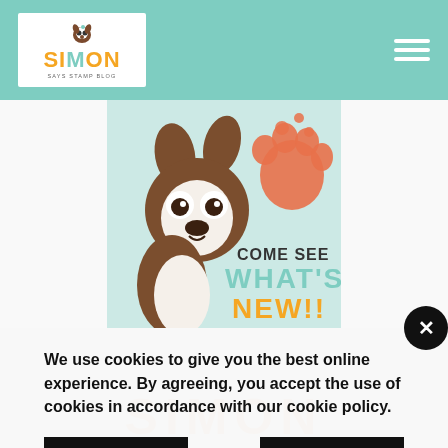Simon Says Stamp Blog - header navigation bar with logo and hamburger menu
[Figure (illustration): Promotional banner image showing a cartoon Boston Terrier dog with the text 'COME SEE WHAT'S NEW!!' on a light blue background with orange paw prints]
[Figure (other): Black circle close button with X]
We use cookies to give you the best online experience. By agreeing, you accept the use of cookies in accordance with our cookie policy.
DECLINE
I ACCEPT
Privacy Policy  Cookie Policy
[Figure (logo): Simon Says Stamp large orange logo text at bottom of page]